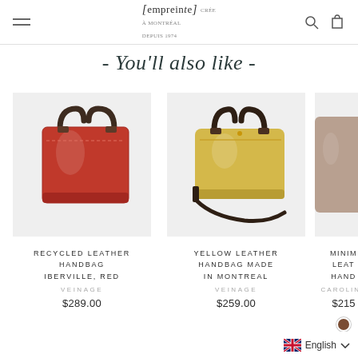l'empreinte — navigation header with hamburger menu, logo, search and cart icons
- You'll also like -
[Figure (photo): Red leather handbag with dark handles on light grey background]
RECYCLED LEATHER HANDBAG IBERVILLE, RED
VEINAGE
$289.00
[Figure (photo): Yellow leather handbag with dark handles and crossbody strap on light grey background]
YELLOW LEATHER HANDBAG MADE IN MONTREAL
VEINAGE
$259.00
[Figure (photo): Partially visible third product — minimal leather handbag]
MINIM LEAT HAND
CAROLINE
$215
English